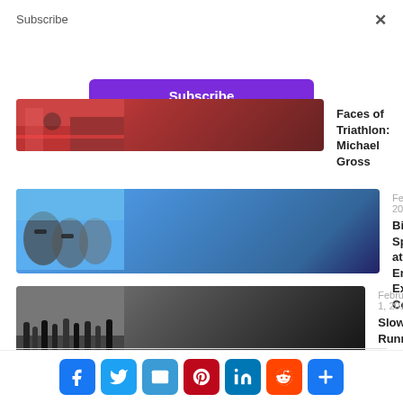Subscribe
×
Subscribe
[Figure (photo): Triathlon race scene, partially cropped, with red banners and athletes]
Faces of Triathlon: Michael Gross
[Figure (photo): Side profile of multiple athletes wearing sunglasses against blue sky]
February 1, 2021
Big Four Speak Out at Endurance Exchange Conference
[Figure (photo): Runners' legs on a paved road during a race]
February 1, 2019
Slow Runner? Fast Runner? Who Cares?
[Figure (infographic): Social sharing icons: Facebook, Twitter, Email, Pinterest, LinkedIn, Reddit, More]